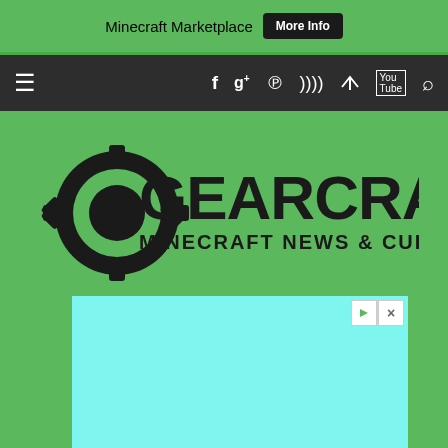Minecraft Marketplace  More Info
[Figure (screenshot): Dark navigation bar with hamburger menu, social media icons (Facebook, Google+, Pinterest, RSS, Twitter, YouTube) and search icon]
[Figure (logo): Gearcraft logo with gear icon and text 'GEARCRAFT Minecraft News & Culture' on green background]
[Figure (other): Advertisement placeholder box in cyan/turquoise color with play and close control buttons in top right corner]